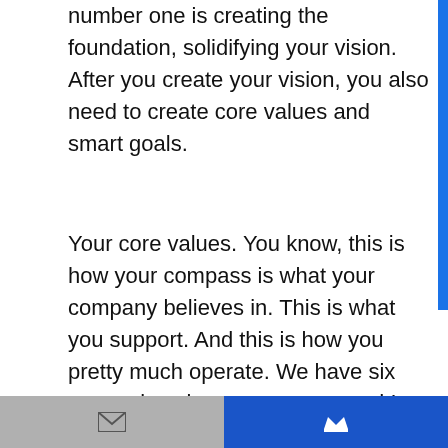number one is creating the foundation, solidifying your vision. After you create your vision, you also need to create core values and smart goals.
Your core values. You know, this is how your compass is what your company believes in. This is what you support. And this is how you pretty much operate. We have six core values in our company, and I always work with a business to create them when we're going through the strategic planning process. So step one, creating a foundation, eat a vision,